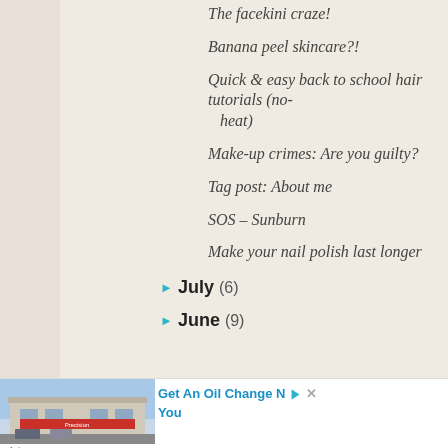The facekini craze!
Banana peel skincare?!
Quick & easy back to school hair tutorials (no-heat)
Make-up crimes: Are you guilty?
Tag post: About me
SOS – Sunburn
Make your nail polish last longer
► July (6)
► June (9)
[Figure (photo): Auto service shop building exterior (Precision Tune Auto Care)]
Get An Oil Change N You
Ad